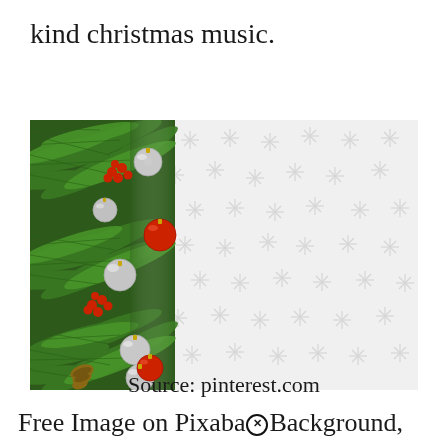kind christmas music.
[Figure (photo): Christmas decoration photo showing pine branches with silver and red ornament balls, red berry clusters, and pinecones on the left half, transitioning to a white background with faint grey snowflake pattern on the right half.]
Source: pinterest.com
Free Image on PixabaⓧBackground,